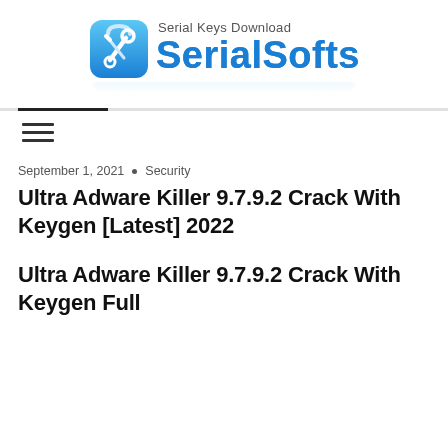[Figure (logo): SerialSofts logo with blue toolbox icon, 'Serial Keys Download' text above, and 'SerialSofts' in large blue bold text with reflection]
September 1, 2021 • Security
Ultra Adware Killer 9.7.9.2 Crack With Keygen [Latest] 2022
Ultra Adware Killer 9.7.9.2 Crack With Keygen Full